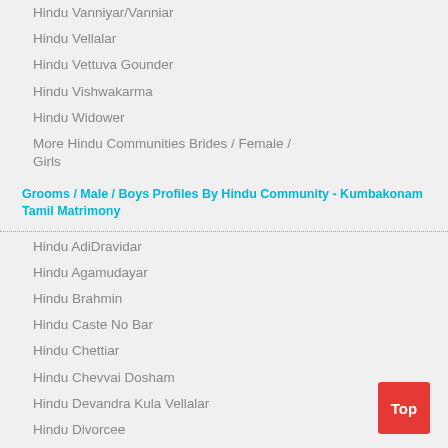Hindu Vanniyar/Vanniar
Hindu Vellalar
Hindu Vettuva Gounder
Hindu Vishwakarma
Hindu Widower
More Hindu Communities Brides / Female / Girls
Grooms / Male / Boys Profiles By Hindu Community - Kumbakonam Tamil Matrimony
Hindu AdiDravidar
Hindu Agamudayar
Hindu Brahmin
Hindu Caste No Bar
Hindu Chettiar
Hindu Chevvai Dosham
Hindu Devandra Kula Vellalar
Hindu Divorcee
Hindu Gounder
Hindu Mudaliar
Hindu Mutharaiyar